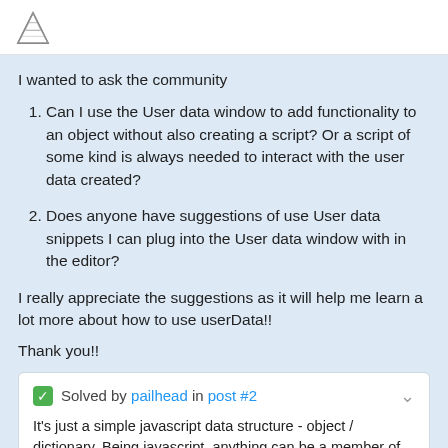[logo]
I wanted to ask the community
Can I use the User data window to add functionality to an object without also creating a script? Or a script of some kind is always needed to interact with the user data created?
Does anyone have suggestions of use User data snippets I can plug into the User data window with in the editor?
I really appreciate the suggestions as it will help me learn a lot more about how to use userData!!
Thank you!!
Solved by pailhead in post #2
It's just a simple javascript data structure - object / dictionary. Being javascript, anything can be a member of